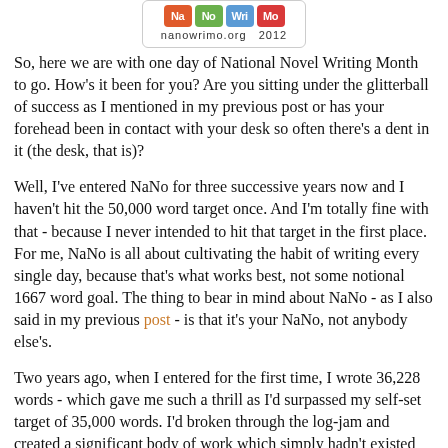[Figure (logo): NaNoWriMo logo with colored tiles spelling Na No Wri Mo and text nanowrimo.org 2012]
So, here we are with one day of National Novel Writing Month to go. How's it been for you? Are you sitting under the glitterball of success as I mentioned in my previous post or has your forehead been in contact with your desk so often there's a dent in it (the desk, that is)?
Well, I've entered NaNo for three successive years now and I haven't hit the 50,000 word target once. And I'm totally fine with that - because I never intended to hit that target in the first place. For me, NaNo is all about cultivating the habit of writing every single day, because that's what works best, not some notional 1667 word goal. The thing to bear in mind about NaNo - as I also said in my previous post - is that it's your NaNo, not anybody else's.
Two years ago, when I entered for the first time, I wrote 36,228 words - which gave me such a thrill as I'd surpassed my self-set target of 35,000 words. I'd broken through the log-jam and created a significant body of work which simply hadn't existed 30 days previously. It was a great feeling.